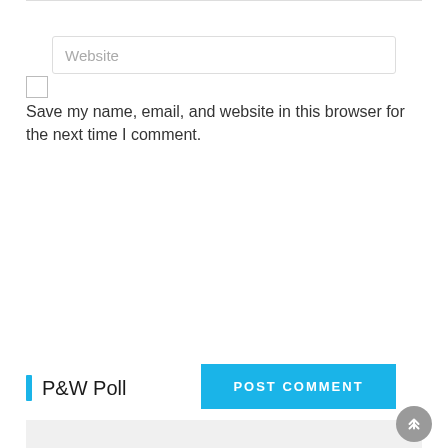[Figure (screenshot): Website input field with placeholder text 'Website']
Save my name, email, and website in this browser for the next time I comment.
[Figure (screenshot): POST COMMENT button in cyan/blue color]
[Figure (infographic): Three social media icons: Facebook (dark blue), Twitter (cyan), Instagram (black)]
P&W Poll
[Figure (screenshot): Gray box at bottom, with scroll-to-top circular button on right]